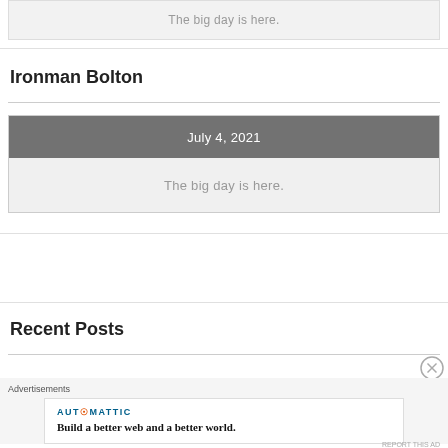The big day is here.
Ironman Bolton
July 4, 2021
The big day is here.
Recent Posts
Advertisements
AUTOMATTIC
Build a better web and a better world.